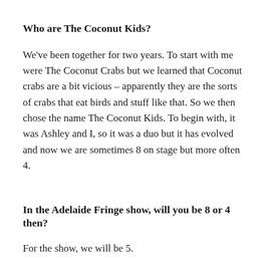Who are The Coconut Kids?
We've been together for two years. To start with me were The Coconut Crabs but we learned that Coconut crabs are a bit vicious – apparently they are the sorts of crabs that eat birds and stuff like that. So we then chose the name The Coconut Kids. To begin with, it was Ashley and I, so it was a duo but it has evolved and now we are sometimes 8 on stage but more often 4.
In the Adelaide Fringe show, will you be 8 or 4 then?
For the show, we will be 5.